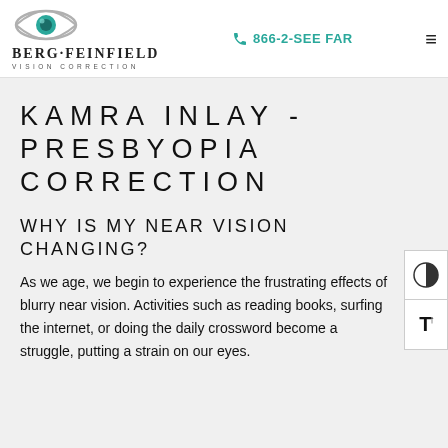Berg·Feinfield Vision Correction | 866-2-SEE FAR
KAMRA INLAY - PRESBYOPIA CORRECTION
WHY IS MY NEAR VISION CHANGING?
As we age, we begin to experience the frustrating effects of blurry near vision. Activities such as reading books, surfing the internet, or doing the daily crossword become a struggle, putting a strain on our eyes.